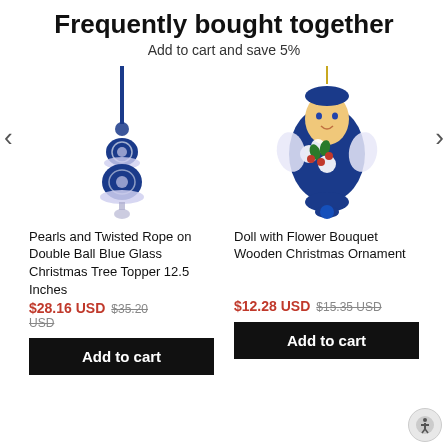Frequently bought together
Add to cart and save 5%
[Figure (photo): Blue glass Christmas tree topper with pearls and twisted rope on double ball design]
[Figure (photo): Doll with flower bouquet wooden Christmas ornament, blue egg-shaped with painted girl face]
Pearls and Twisted Rope on Double Ball Blue Glass Christmas Tree Topper 12.5 Inches
$28.16 USD  $35.20 USD
Doll with Flower Bouquet Wooden Christmas Ornament
$12.28 USD  $15.35 USD